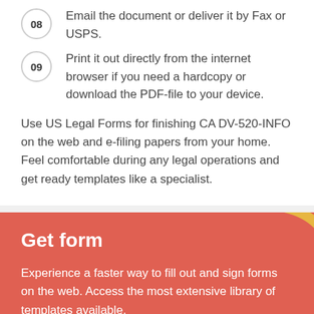08 Email the document or deliver it by Fax or USPS.
09 Print it out directly from the internet browser if you need a hardcopy or download the PDF-file to your device.
Use US Legal Forms for finishing CA DV-520-INFO on the web and e-filing papers from your home. Feel comfortable during any legal operations and get ready templates like a specialist.
Get form
Experience a faster way to fill out and sign forms on the web. Access the most extensive library of templates available.